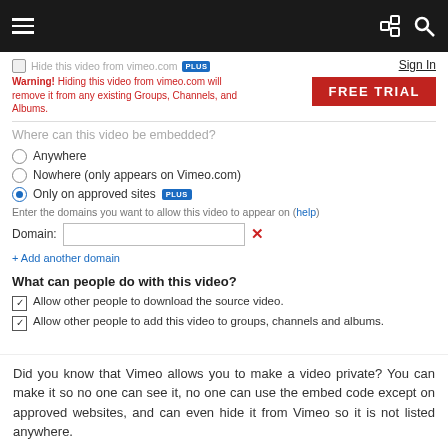Navigation bar with hamburger menu, share icon, search icon, Sign In link, FREE TRIAL button
Hide this video from vimeo.com [PLUS]
Warning! Hiding this video from vimeo.com will remove it from any existing Groups, Channels, and Albums.
Where can this video be embedded?
Anywhere
Nowhere (only appears on Vimeo.com)
Only on approved sites [PLUS]
Enter the domains you want to allow this video to appear on (help)
Domain: [input field] [x]
+ Add another domain
What can people do with this video?
Allow other people to download the source video.
Allow other people to add this video to groups, channels and albums.
Who can post comments on this video?
Nobody
Anybody
Only my contacts
Did you know that Vimeo allows you to make a video private? You can make it so no one can see it, no one can use the embed code except on approved websites, and can even hide it from Vimeo so it is not listed anywhere.